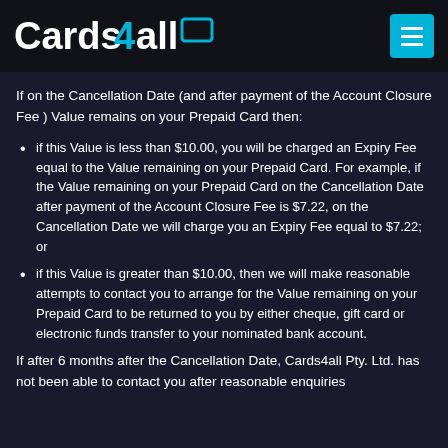Cards4all
If on the Cancellation Date (and after payment of the Account Closure Fee ) Value remains on your Prepaid Card then:
if this Value is less than $10.00, you will be charged an Expiry Fee equal to the Value remaining on your Prepaid Card. For example, if the Value remaining on your Prepaid Card on the Cancellation Date after payment of the Account Closure Fee is $7.22, on the Cancellation Date we will charge you an Expiry Fee equal to $7.22; or
if this Value is greater than $10.00, then we will make reasonable attempts to contact you to arrange for the Value remaining on your Prepaid Card to be returned to you by either cheque, gift card or electronic funds transfer to your nominated bank account.
If after 6 months after the Cancellation Date, Cards4all Pty. Ltd. has not been able to contact you after reasonable enquiries